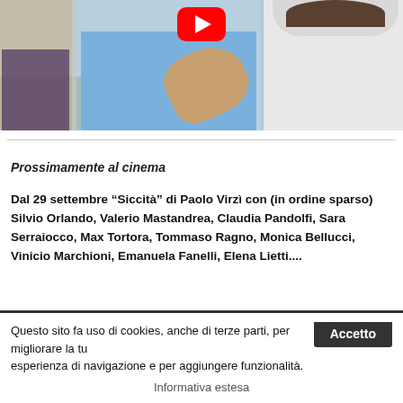[Figure (photo): Screenshot of a YouTube video thumbnail showing two men, one in a blue shirt gesturing with his hand and one in a white shirt, with a woman partially visible on the left. A red YouTube play button is visible at the top center.]
Prossimamente al cinema
Dal 29 settembre “Siccità” di Paolo Virzì con (in ordine sparso) Silvio Orlando, Valerio Mastandrea, Claudia Pandolfi, Sara Serraiocco, Max Tortora, Tommaso Ragno, Monica Bellucci, Vinicio Marchioni, Emanuela Fanelli, Elena Lietti....
Questo sito fa uso di cookies, anche di terze parti, per migliorare la tu esperienza di navigazione e per aggiungere funzionalità.
Informativa estesa